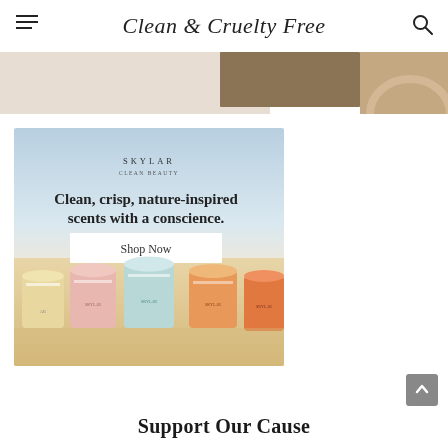Clean & Cruelty Free
[Figure (photo): Partial banner image showing abstract warm/tan tones with a brown rectangle on the right side]
[Figure (photo): Skylar Clean Beauty advertisement showing four Skylar candles in pastel jars on a sandy beach background. Text reads: SKYLAR CLEAN BEAUTY / Clean, crisp, nature-inspired scents with a conscience. / Shop Now button]
Support Our Cause